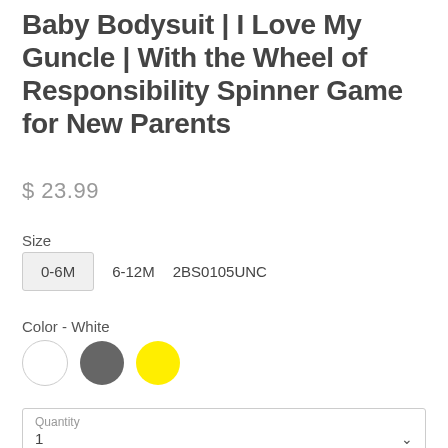Baby Bodysuit | I Love My Guncle | With the Wheel of Responsibility Spinner Game for New Parents
$ 23.99
Size
0-6M   6-12M   2BS0105UNC
Color - White
Quantity 1